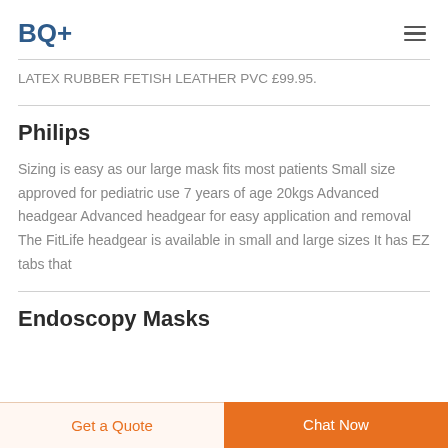BQ+
LATEX RUBBER FETISH LEATHER PVC £99.95.
Philips
Sizing is easy as our large mask fits most patients Small size approved for pediatric use 7 years of age 20kgs Advanced headgear Advanced headgear for easy application and removal The FitLife headgear is available in small and large sizes It has EZ tabs that
Endoscopy Masks
Get a Quote
Chat Now